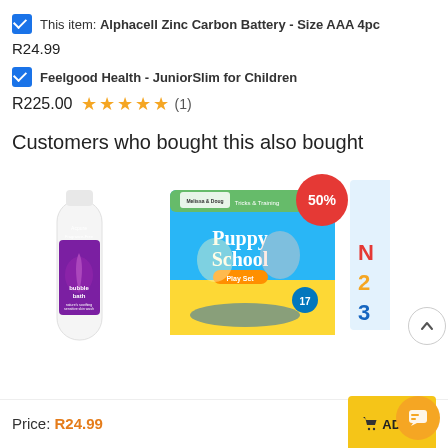This item: Alphacell Zinc Carbon Battery - Size AAA 4pc
R24.99
Feelgood Health - JuniorSlim for Children
R225.00  ★★★★★ (1)
Customers who bought this also bought
[Figure (photo): Acpure Fragrance-Free bubble bath bottle (white bottle with purple label)]
[Figure (photo): Melissa & Doug Tricks & Training Puppy School Play Set box with 50% off badge]
Price: R24.99
ADD T